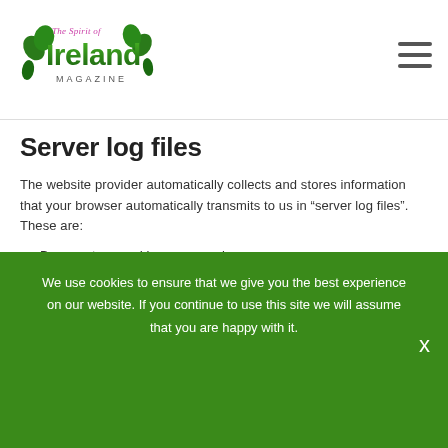[Figure (logo): The Spirit of Ireland Magazine logo with shamrock/clover leaf graphics and green gradient text]
Server log files
The website provider automatically collects and stores information that your browser automatically transmits to us in “server log files”. These are:
Browser type and browser version
Operating system used
Referrer URL
Host name of the accessing computer
We use cookies to ensure that we give you the best experience on our website. If you continue to use this site we will assume that you are happy with it.